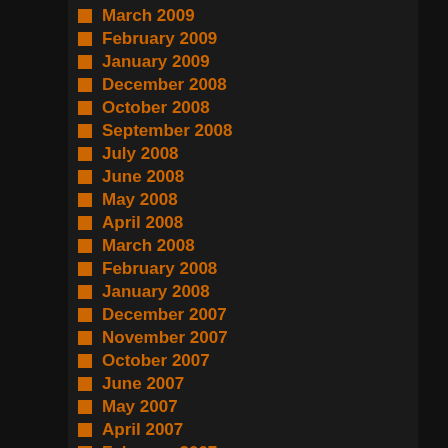March 2009
February 2009
January 2009
December 2008
October 2008
September 2008
July 2008
June 2008
May 2008
April 2008
March 2008
February 2008
January 2008
December 2007
November 2007
October 2007
June 2007
May 2007
April 2007
February 2007
January 2007